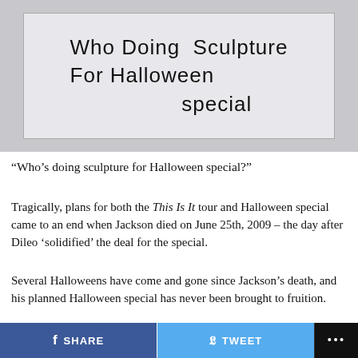[Figure (photo): Photograph of a handwritten note on white paper reading: 'Who Doing Sculpture For Halloween special']
“Who’s doing sculpture for Halloween special?”
Tragically, plans for both the This Is It tour and Halloween special came to an end when Jackson died on June 25th, 2009 – the day after Dileo ‘solidified’ the deal for the special.
Several Halloweens have come and gone since Jackson’s death, and his planned Halloween special has never been brought to fruition.
SHARE   TWEET   ...